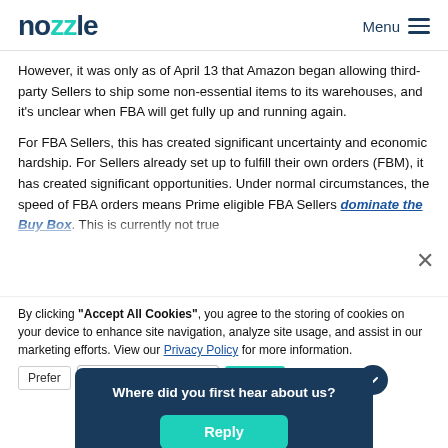nozzle  Menu
However, it was only as of April 13 that Amazon began allowing third-party Sellers to ship some non-essential items to its warehouses, and it's unclear when FBA will get fully up and running again.
For FBA Sellers, this has created significant uncertainty and economic hardship. For Sellers already set up to fulfill their own orders (FBM), it has created significant opportunities. Under normal circumstances, the speed of FBA orders means Prime eligible FBA Sellers dominate the Buy Box. This is currently not true
By clicking "Accept All Cookies", you agree to the storing of cookies on your device to enhance site navigation, analyze site usage, and assist in our marketing efforts. View our Privacy Policy for more information.
Preferences
Where did you first hear about us?
Reply